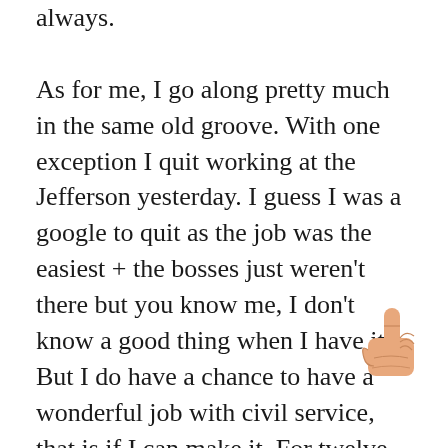always.

As for me, I go along pretty much in the same old groove. With one exception I quit working at the Jefferson yesterday. I guess I was a google to quit as the job was the easiest + the bosses just weren't there but you know me, I don't know a good thing when I have it. But I do have a chance to have a wonderful job with civil service, that is if I can make it. For twelve weeks I go to Rubicam School to learn typing and shorthand. I paid $130 a month for that in addition to my tuition then comes the catch. I go to Dayton Ohio to work oh $1440 a year. Of course
[Figure (illustration): Pointing hand / index finger emoji illustration in peach/skin tone color]